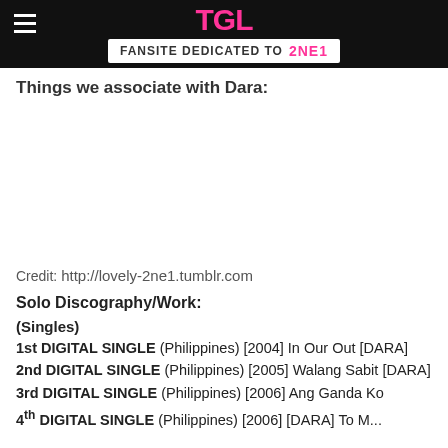FANSITE DEDICATED TO 2NE1
Things we associate with Dara:
Credit: http://lovely-2ne1.tumblr.com
Solo Discography/Work:
(Singles)
1st DIGITAL SINGLE (Philippines) [2004] In Our Out [DARA] 2nd DIGITAL SINGLE (Philippines) [2005] Walang Sabit [DARA] 3rd DIGITAL SINGLE (Philippines) [2006] Ang Ganda Ko
4th DIGITAL SINGLE (Philippines) [2006] [DARA] To M...